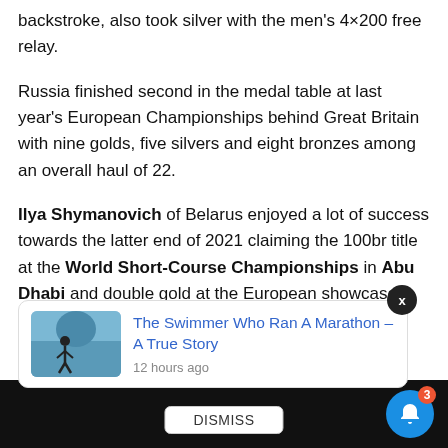backstroke, also took silver with the men's 4×200 free relay.
Russia finished second in the medal table at last year's European Championships behind Great Britain with nine golds, five silvers and eight bronzes among an overall haul of 22.
Ilya Shymanovich of Belarus enjoyed a lot of success towards the latter end of 2021 claiming the 100br title at the World Short-Course Championships in Abu Dhabi and double gold at the European showcase in Kazan, Russia.
[Figure (screenshot): Popup card showing 'The Swimmer Who Ran A Marathon – A True Story' article link with thumbnail image and '12 hours ago' timestamp, with a close X button and a DISMISS button below]
[Figure (other): Blue notification bell button with red badge showing '3']